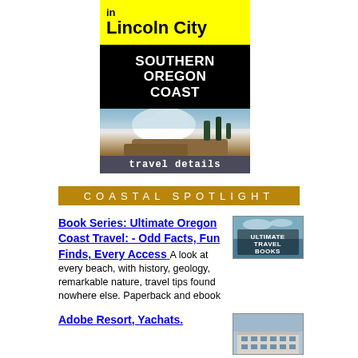[Figure (illustration): Book cover image: yellow band reading 'in Lincoln City', black band with 'SOUTHERN OREGON COAST' in white bold text, coastal wave photo, and dark 'travel details' band at bottom]
Coastal Spotlight
Book Series: Ultimate Oregon Coast Travel: - Odd Facts, Fun Finds, Every Access A look at every beach, with history, geology, remarkable nature, travel tips found nowhere else. Paperback and ebook
[Figure (photo): Book thumbnail labeled ULTIMATE TRAVEL BOOKS against sky/ocean backdrop]
Adobe Resort, Yachats.